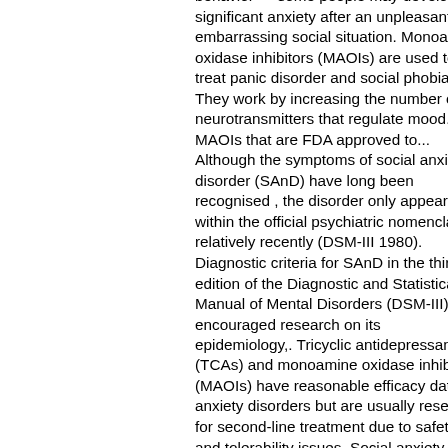behavior — some people may develop significant anxiety after an unpleasant or embarrassing social situation. Monoamine oxidase inhibitors (MAOIs) are used to treat panic disorder and social phobia. They work by increasing the number of neurotransmitters that regulate mood. MAOIs that are FDA approved to... Although the symptoms of social anxiety disorder (SAnD) have long been recognised , the disorder only appeared within the official psychiatric nomenclature relatively recently (DSM-III 1980). Diagnostic criteria for SAnD in the third edition of the Diagnostic and Statistical Manual of Mental Disorders (DSM-III) encouraged research on its epidemiology,. Tricyclic antidepressants (TCAs) and monoamine oxidase inhibitors (MAOIs) have reasonable efficacy data in anxiety disorders but are usually reserved for second-line treatment due to safety and tolerability issues. Social anxiety disorder